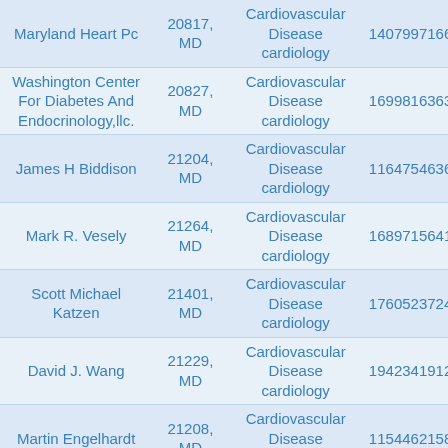| Maryland Heart Pc | 20817, MD | Cardiovascular Disease cardiology | 1407997166 |
| Washington Center For Diabetes And Endocrinology,llc. | 20827, MD | Cardiovascular Disease cardiology | 1699816363 |
| James H Biddison | 21204, MD | Cardiovascular Disease cardiology | 1164754636 |
| Mark R. Vesely | 21264, MD | Cardiovascular Disease cardiology | 1689715641 |
| Scott Michael Katzen | 21401, MD | Cardiovascular Disease cardiology | 1760523724 |
| David J. Wang | 21229, MD | Cardiovascular Disease cardiology | 1942341912 |
| Martin Engelhardt | 21208, MD | Cardiovascular Disease cardiology | 1154462158 |